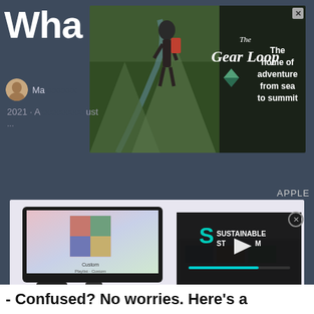Wha
[Figure (advertisement): The Gear Loop advertisement banner showing a hiker in mountains with text 'The home of adventure from sea to summit']
Ma... ust 2021 · A...
APPLE
[Figure (screenshot): Apple TV and MacBook display showing music/photo app interface, with Sustainable Stream video overlay and play button]
- Confused? No worries. Here's a